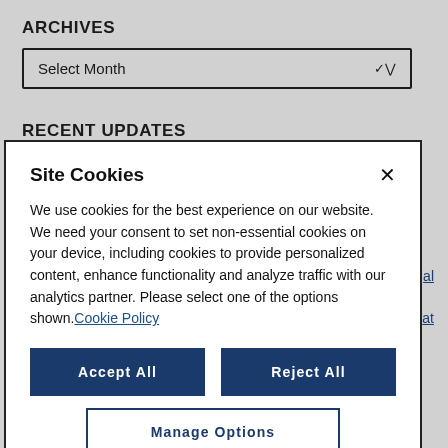ARCHIVES
Select Month
RECENT UPDATES
ESG: What is it, and Why Does it Matter to Mayer Brown?
Site Cookies
We use cookies for the best experience on our website. We need your consent to set non-essential cookies on your device, including cookies to provide personalized content, enhance functionality and analyze traffic with our analytics partner. Please select one of the options shown. Cookie Policy
Accept All
Reject All
Manage Options